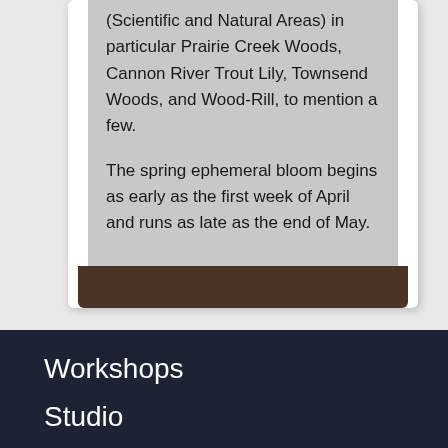(Scientific and Natural Areas) in particular Prairie Creek Woods, Cannon River Trout Lily, Townsend Woods, and Wood-Rill, to mention a few.
The spring ephemeral bloom begins as early as the first week of April and runs as late as the end of May.
Workshops
Studio